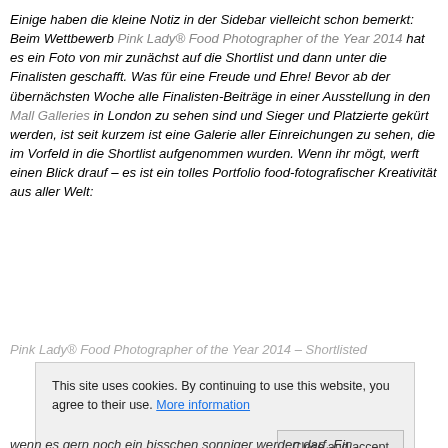Einige haben die kleine Notiz in der Sidebar vielleicht schon bemerkt: Beim Wettbewerb Pink Lady® Food Photographer of the Year 2014 hat es ein Foto von mir zunächst auf die Shortlist und dann unter die Finalisten geschafft. Was für eine Freude und Ehre! Bevor ab der übernächsten Woche alle Finalisten-Beiträge in einer Ausstellung in den Mall Galleries in London zu sehen sind und Sieger und Platzierte gekürt werden, ist seit kurzem ist eine Galerie aller Einreichungen zu sehen, die im Vorfeld in die Shortlist aufgenommen wurden. Wenn ihr mögt, werft einen Blick drauf – es ist ein tolles Portfolio food-fotografischer Kreativität aus aller Welt:
Pink Lady® Food Photographer of the Year 2014 – Shortlisted
This site uses cookies. By continuing to use this website, you agree to their use. More information
wenn es gern noch ein bisschen sonniger werden darf. Ein